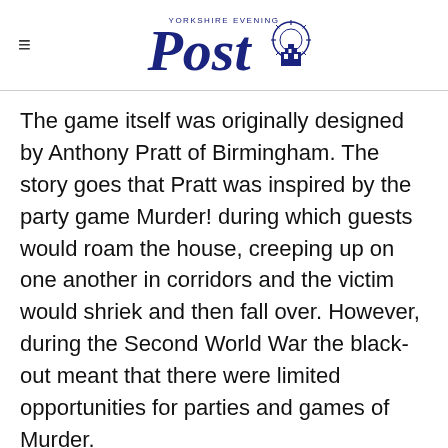Yorkshire Evening Post
The game itself was originally designed by Anthony Pratt of Birmingham. The story goes that Pratt was inspired by the party game Murder! during which guests would roam the house, creeping up on one another in corridors and the victim would shriek and then fall over. However, during the Second World War the black-out meant that there were limited opportunities for parties and games of Murder.
Instead Pratt designed a board game able to replicate some of the fun of one of his favourite